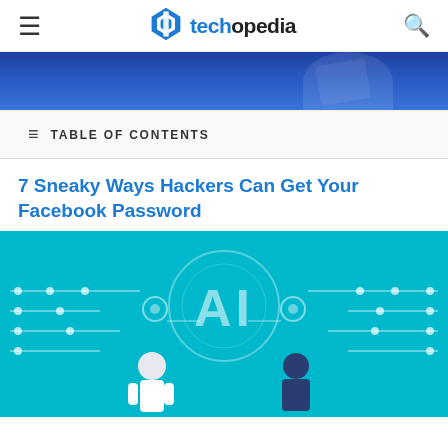techopedia
[Figure (photo): Dark blue banner image, partial view of a person]
TABLE OF CONTENTS
7 Sneaky Ways Hackers Can Get Your Facebook Password
[Figure (illustration): Teal/cyan illustration with AI text circuit design, robot and human figures facing each other]